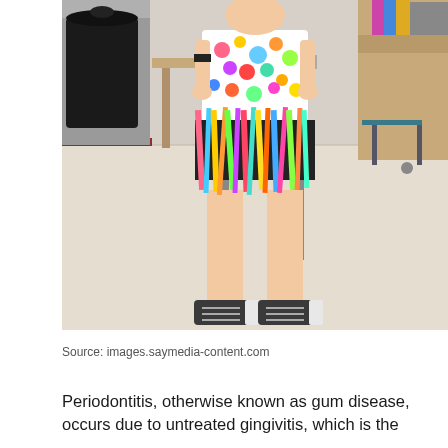[Figure (photo): A person wearing a colorful costume dress with multicolored ribbons/streamers hanging down, standing in a classroom environment with desks visible. The person is wearing dark sneakers with white soles. The background shows classroom furniture including desks and a trash bin.]
Source: images.saymedia-content.com
Periodontitis, otherwise known as gum disease, occurs due to untreated gingivitis, which is the